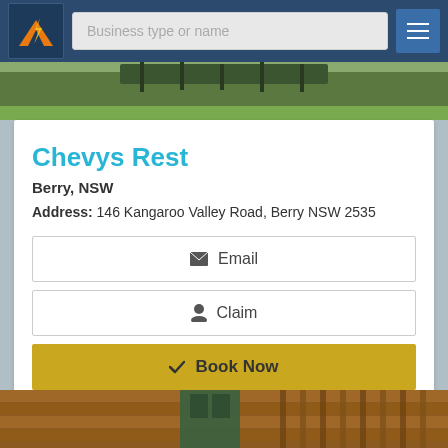Business type or name
[Figure (photo): Scenic outdoor photo strip showing trees and green landscape]
Chevys Rest
Berry, NSW
Address: 146 Kangaroo Valley Road, Berry NSW 2535
Email
Claim
Book Now
View Details
[Figure (photo): Photo of wooden cabin exterior with green door]